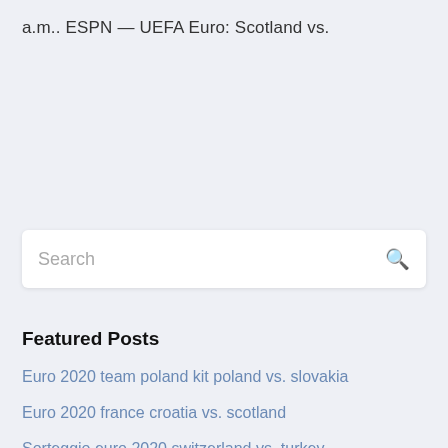a.m.. ESPN — UEFA Euro: Scotland vs.
Search
Featured Posts
Euro 2020 team poland kit poland vs. slovakia
Euro 2020 france croatia vs. scotland
Sorteggio euro 2020 switzerland vs. turkey